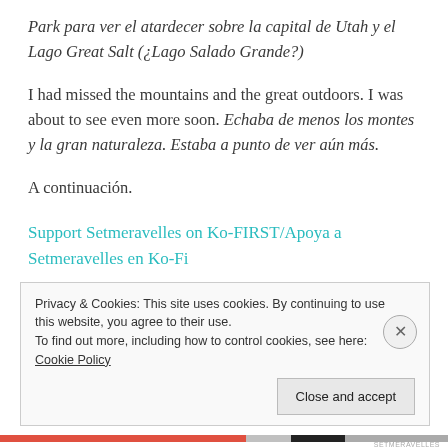Park para ver el atardecer sobre la capital de Utah y el Lago Great Salt (¿Lago Salado Grande?)
I had missed the mountains and the great outdoors. I was about to see even more soon. Echaba de menos los montes y la gran naturaleza. Estaba a punto de ver aún más.
A continuación.
Support Setmeravelles on Ko-FIRST/Apoya a Setmeravelles en Ko-Fi
Privacy & Cookies: This site uses cookies. By continuing to use this website, you agree to their use.
To find out more, including how to control cookies, see here: Cookie Policy
Close and accept